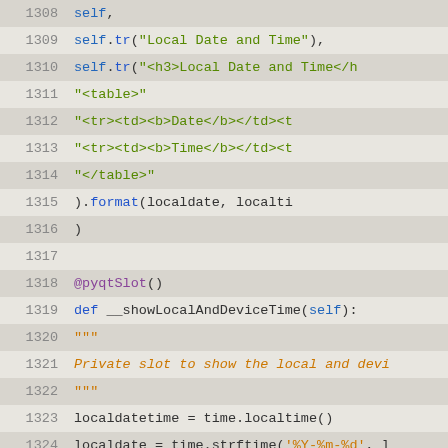[Figure (screenshot): Python source code editor showing lines 1308-1334, syntax highlighted, with alternating highlighted row background. Code shows methods related to showing local and device time in a PyQt application.]